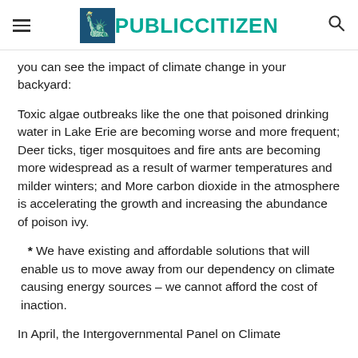PUBLIC CITIZEN
you can see the impact of climate change in your backyard:
Toxic algae outbreaks like the one that poisoned drinking water in Lake Erie are becoming worse and more frequent; Deer ticks, tiger mosquitoes and fire ants are becoming more widespread as a result of warmer temperatures and milder winters; and More carbon dioxide in the atmosphere is accelerating the growth and increasing the abundance of poison ivy.
* We have existing and affordable solutions that will enable us to move away from our dependency on climate causing energy sources – we cannot afford the cost of inaction.
In April, the Intergovernmental Panel on Climate